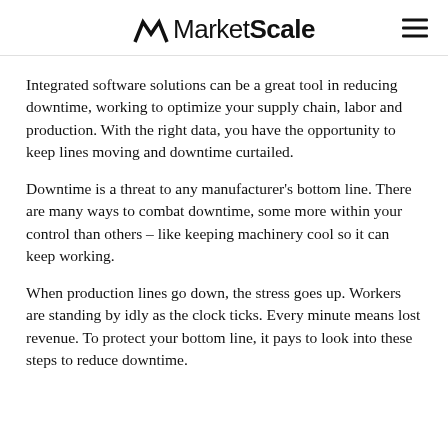MarketScale
Integrated software solutions can be a great tool in reducing downtime, working to optimize your supply chain, labor and production. With the right data, you have the opportunity to keep lines moving and downtime curtailed.
Downtime is a threat to any manufacturer's bottom line. There are many ways to combat downtime, some more within your control than others – like keeping machinery cool so it can keep working.
When production lines go down, the stress goes up. Workers are standing by idly as the clock ticks. Every minute means lost revenue. To protect your bottom line, it pays to look into these steps to reduce downtime.